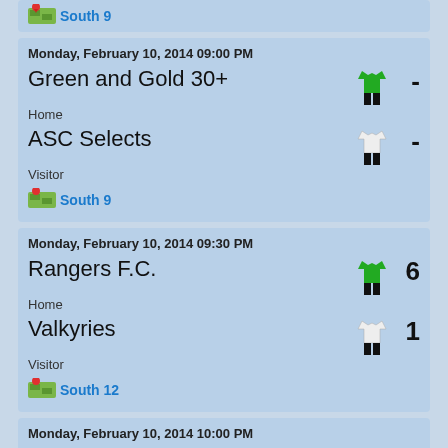South 9 (partial top)
Monday, February 10, 2014 09:00 PM
Green and Gold 30+
Home
ASC Selects
Visitor
South 9
Monday, February 10, 2014 09:30 PM
Rangers F.C.
Home  6
Valkyries
Visitor  1
South 12
Monday, February 10, 2014 10:00 PM
Polonia 1 Women
Home  2
Rionero FC Women
Visitor  0
South 9
Monday, February 17, 2014 06:45 PM